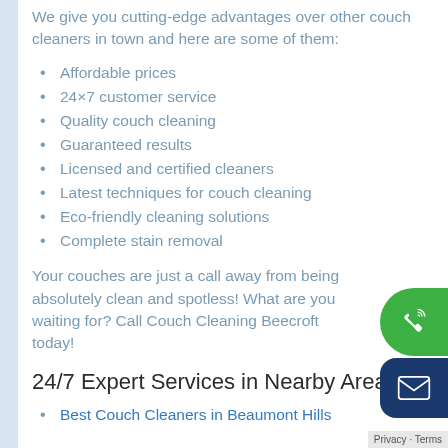We give you cutting-edge advantages over other couch cleaners in town and here are some of them:
Affordable prices
24×7 customer service
Quality couch cleaning
Guaranteed results
Licensed and certified cleaners
Latest techniques for couch cleaning
Eco-friendly cleaning solutions
Complete stain removal
Your couches are just a call away from being absolutely clean and spotless! What are you waiting for? Call Couch Cleaning Beecroft today!
24/7 Expert Services in Nearby Areas
Best Couch Cleaners in Beaumont Hills